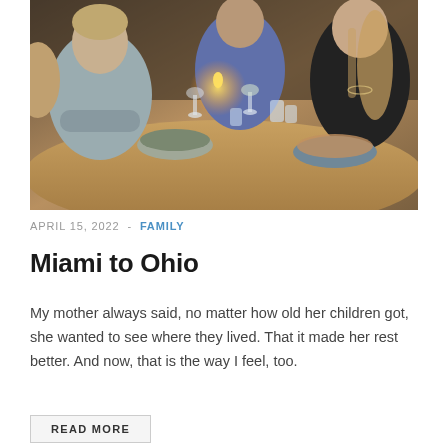[Figure (photo): People sitting around a restaurant table with wine glasses, water glasses, a candle, and bowls of food. Visible are a person in a grey sweater with arms crossed, a person in blue, and a woman with long hair in black on the right.]
APRIL 15, 2022  -  FAMILY
Miami to Ohio
My mother always said, no matter how old her children got, she wanted to see where they lived. That it made her rest better. And now, that is the way I feel, too.
READ MORE